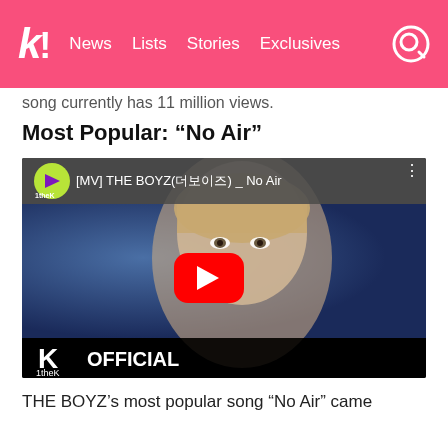k! News  Lists  Stories  Exclusives
song currently has 11 million views.
Most Popular: “No Air”
[Figure (screenshot): YouTube video embed showing [MV] THE BOYZ(더보이즈) _ No Air with 1theK channel icon, a person with blonde hair on blue background, red YouTube play button, and 1theK OFFICIAL label at bottom]
THE BOYZ’s most popular song “No Air” came